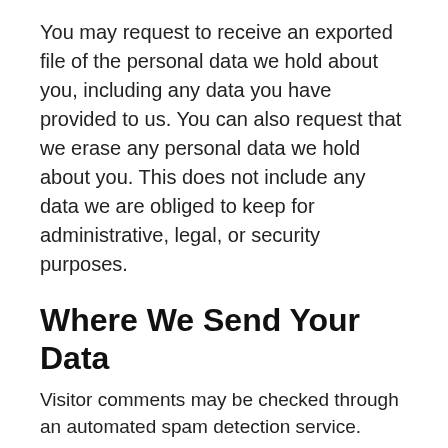You may request to receive an exported file of the personal data we hold about you, including any data you have provided to us. You can also request that we erase any personal data we hold about you. This does not include any data we are obliged to keep for administrative, legal, or security purposes.
Where We Send Your Data
Visitor comments may be checked through an automated spam detection service.
Information Collection, Use,